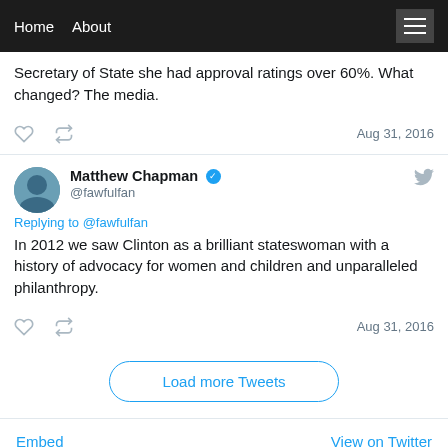Home  About
Secretary of State she had approval ratings over 60%. What changed? The media.
Aug 31, 2016
Matthew Chapman @fawfulfan
Replying to @fawfulfan
In 2012 we saw Clinton as a brilliant stateswoman with a history of advocacy for women and children and unparalleled philanthropy.
Aug 31, 2016
Load more Tweets
Embed    View on Twitter